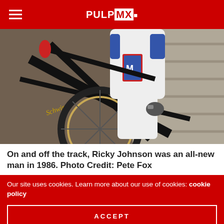PULPMX
[Figure (photo): A motocross rider in white, red, and blue racing gear stands with a black Schwinn bicycle on a wooden deck/ramp. The photo is taken from above at an angle. The rider is wearing a helmet and gloves. Photo credit: Pete Fox, 1986.]
On and off the track, Ricky Johnson was an all-new man in 1986. Photo Credit: Pete Fox
Our site uses cookies. Learn more about our use of cookies: cookie policy
ACCEPT